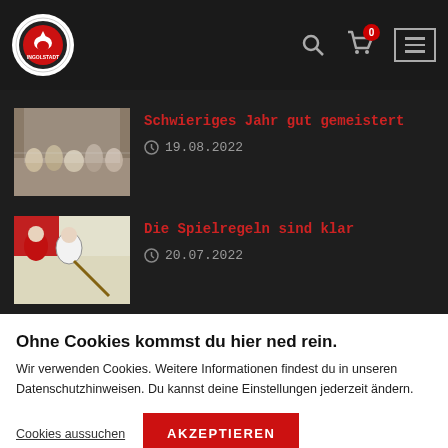[Figure (logo): Round club logo with eagle/bird emblem on white background]
[Figure (photo): Thumbnail photo of people at an event/gathering under a tent]
Schwieriges Jahr gut gemeistert
19.08.2022
[Figure (photo): Thumbnail photo of ice hockey players in action]
Die Spielregeln sind klar
20.07.2022
Ohne Cookies kommst du hier ned rein.
Wir verwenden Cookies. Weitere Informationen findest du in unseren Datenschutzhinweisen. Du kannst deine Einstellungen jederzeit ändern.
Cookies aussuchen
AKZEPTIEREN